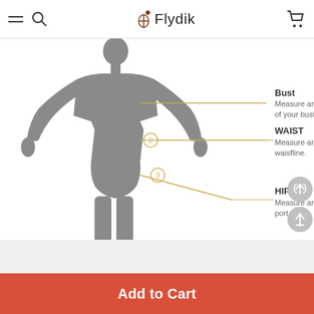Flydik
[Figure (illustration): Female body silhouette (gray) with measurement lines and numbered points (2=waist area, 3=hip area) indicating measurement locations. Gold/tan colored lines extend from numbered points to labels on the right side.]
BUST
Measure around the fullest part of your bust.
WAIST
Measure around natural waisfline.
HIPS
Measure around the fullest port.
Add to Cart